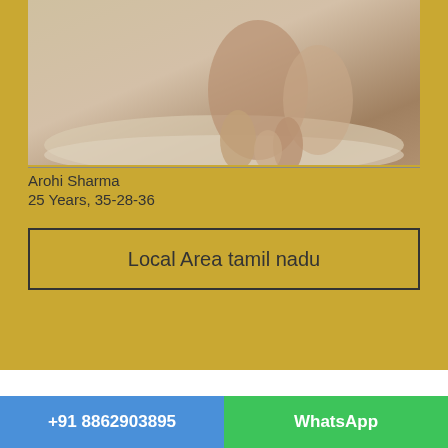[Figure (photo): Photo of two people on a bed]
Arohi Sharma
25 Years, 35-28-36
Local Area tamil nadu
+91 8862903895   WhatsApp